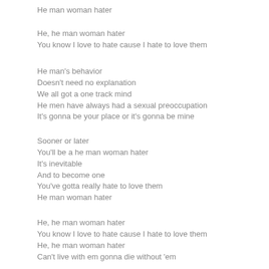He man woman hater
He, he man woman hater
You know I love to hate cause I hate to love them
He man's behavior
Doesn't need no explanation
We all got a one track mind
He men have always had a sexual preoccupation
It's gonna be your place or it's gonna be mine
Sooner or later
You'll be a he man woman hater
It's inevitable
And to become one
You've gotta really hate to love them
He man woman hater
He, he man woman hater
You know I love to hate cause I hate to love them
He, he man woman hater
Can't live with em gonna die without 'em